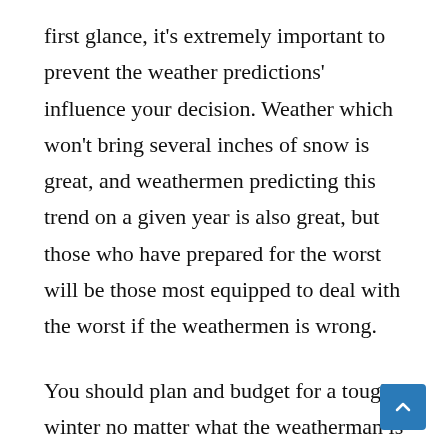first glance, it's extremely important to prevent the weather predictions' influence your decision. Weather which won't bring several inches of snow is great, and weathermen predicting this trend on a given year is also great, but those who have prepared for the worst will be those most equipped to deal with the worst if the weathermen is wrong.
You should plan and budget for a tough winter no matter what the weatherman is telling you on any given day several weeks or months out from the actual winter season. Don't plan for a moderate winter, either; plan for a winter which you gauge to be snowier and colder than normal.